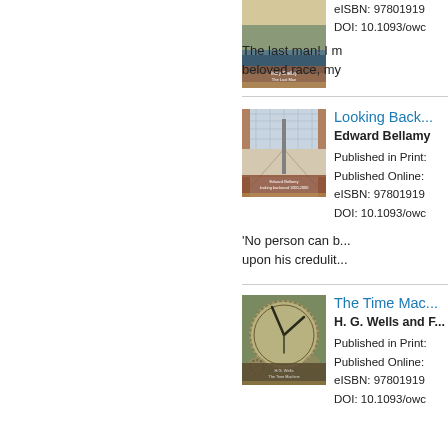[Figure (illustration): Book cover for The Last Man by Mary Shelley - partial view showing landscape]
eISBN: 97801919...
DOI: 10.1093/owc...
The last man! I m... beloved race, my...
[Figure (illustration): Book cover for Looking Backward by Edward Bellamy - interior architectural corridor with glass ceiling]
Looking Back...
Edward Bellamy
Published in Print:
Published Online:
eISBN: 97801919...
DOI: 10.1093/owc...
'No person can b... upon his credulit...
[Figure (illustration): Book cover for The Time Machine by H. G. Wells - clock face with gears]
The Time Mac...
H. G. Wells and F...
Published in Print:
Published Online:
eISBN: 97801919...
DOI: 10.1093/owc...